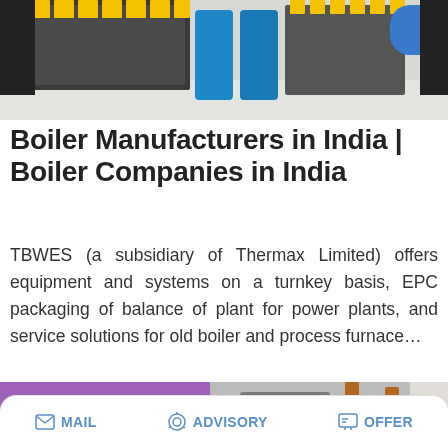[Figure (photo): Industrial boiler/machinery equipment in a factory setting with yellow and blue components]
Boiler Manufacturers in India | Boiler Companies in India
TBWES (a subsidiary of Thermax Limited) offers equipment and systems on a turnkey basis, EPC packaging of balance of plant for power plants, and service solutions for old boiler and process furnace…
[Figure (screenshot): Save Stickers on WhatsApp overlay on a photo of a boiler/heating unit with copper pipes]
MAIL   ADVISORY   OFFER